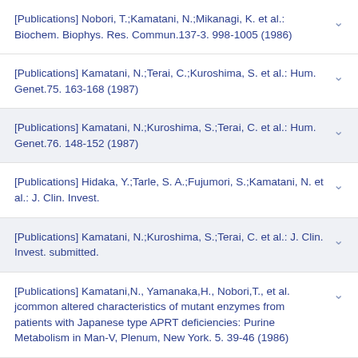[Publications] Nobori, T.;Kamatani, N.;Mikanagi, K. et al.: Biochem. Biophys. Res. Commun.137-3. 998-1005 (1986)
[Publications] Kamatani, N.;Terai, C.;Kuroshima, S. et al.: Hum. Genet.75. 163-168 (1987)
[Publications] Kamatani, N.;Kuroshima, S.;Terai, C. et al.: Hum. Genet.76. 148-152 (1987)
[Publications] Hidaka, Y.;Tarle, S. A.;Fujumori, S.;Kamatani, N. et al.: J. Clin. Invest.
[Publications] Kamatani, N.;Kuroshima, S.;Terai, C. et al.: J. Clin. Invest. submitted.
[Publications] Kamatani,N., Yamanaka,H., Nobori,T., et al. jcommon altered characteristics of mutant enzymes from patients with Japanese type APRT deficiencies: Purine Metabolism in Man-V, Plenum, New York. 5. 39-46 (1986)